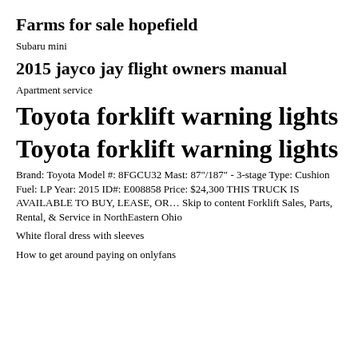Farms for sale hopefield
Subaru mini
2015 jayco jay flight owners manual
Apartment service
Toyota forklift warning lights
Toyota forklift warning lights
Brand: Toyota Model #: 8FGCU32 Mast: 87"/187" - 3-stage Type: Cushion Fuel: LP Year: 2015 ID#: E008858 Price: $24,300 THIS TRUCK IS AVAILABLE TO BUY, LEASE, OR… Skip to content Forklift Sales, Parts, Rental, & Service in NorthEastern Ohio
White floral dress with sleeves
How to get around paying on onlyfans